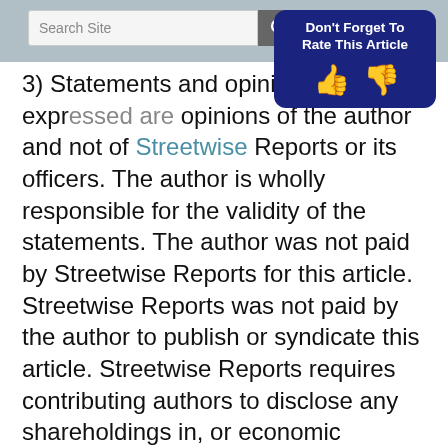Search Site
[Figure (infographic): Don't Forget To Rate This Article button with thumbs up and thumbs down icons on dark blue background]
3) Statements and opinions expressed are opinions of the author and not of Streetwise Reports or its officers. The author is wholly responsible for the validity of the statements. The author was not paid by Streetwise Reports for this article. Streetwise Reports was not paid by the author to publish or syndicate this article. Streetwise Reports requires contributing authors to disclose any shareholdings in, or economic relationships with, companies that they write about. Streetwise Reports relies upon the authors to accurately provide this information and Streetwise Reports bears no responsibility for inaccuracies if